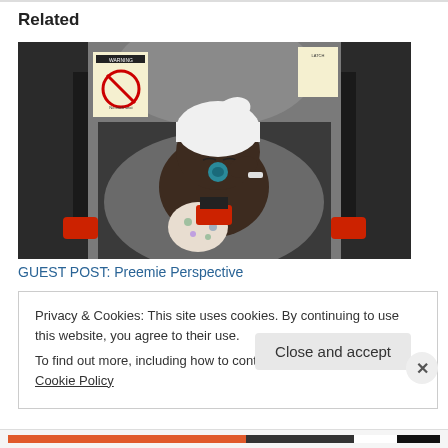Related
[Figure (photo): A newborn premature baby wearing a white knit hat and floral pants, sleeping in a grey infant car seat with red buckle clips. The car seat has warning labels and a chest clip harness.]
GUEST POST: Preemie Perspective
Privacy & Cookies: This site uses cookies. By continuing to use this website, you agree to their use.
To find out more, including how to control cookies, see here: Cookie Policy